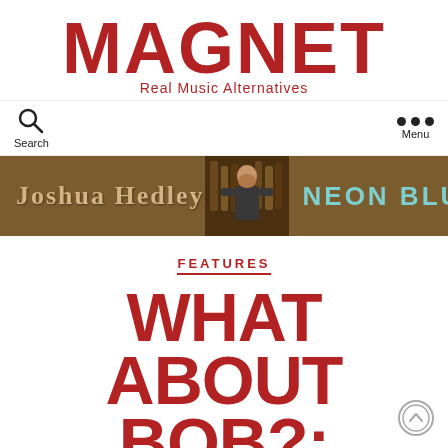MAGNET
Real Music Alternatives
Search   Menu
[Figure (illustration): Joshua Hedley Neon Blue album advertisement banner with brown background, photo of Joshua Hedley in center, album name in teal letters on right]
FEATURES
WHAT ABOUT BOB?: MOULD RETURNS WITH